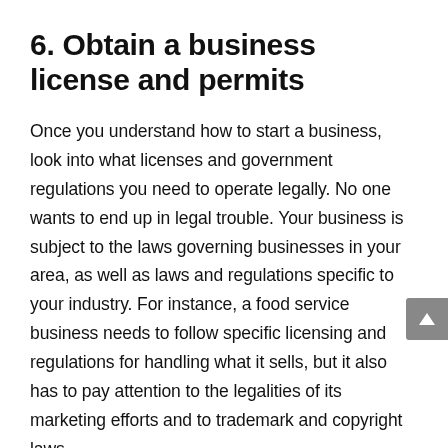6. Obtain a business license and permits
Once you understand how to start a business, look into what licenses and government regulations you need to operate legally. No one wants to end up in legal trouble. Your business is subject to the laws governing businesses in your area, as well as laws and regulations specific to your industry. For instance, a food service business needs to follow specific licensing and regulations for handling what it sells, but it also has to pay attention to the legalities of its marketing efforts and to trademark and copyright laws.